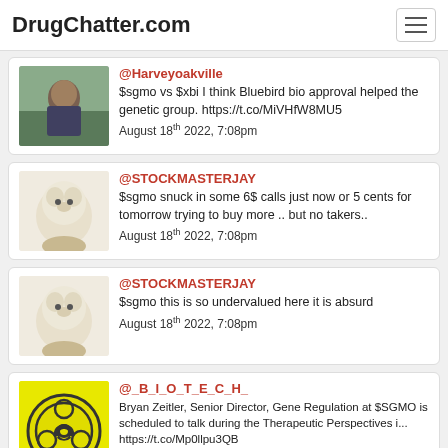DrugChatter.com
@Harveyoakville
$sgmo vs $xbi I think Bluebird bio approval helped the genetic group. https://t.co/MiVHfW8MU5
August 18th 2022, 7:08pm
@STOCKMASTERJAY
$sgmo snuck in some 6$ calls just now or 5 cents for tomorrow trying to buy more .. but no takers..
August 18th 2022, 7:08pm
@STOCKMASTERJAY
$sgmo this is so undervalued here it is absurd
August 18th 2022, 7:08pm
@_B_I_O_T_E_C_H_
Bryan Zeitler, Senior Director, Gene Regulation at $SGMO is scheduled to talk during the Therapeutic Perspectives i... https://t.co/Mp0llpu3QB
August 18th 2022, 5:08pm